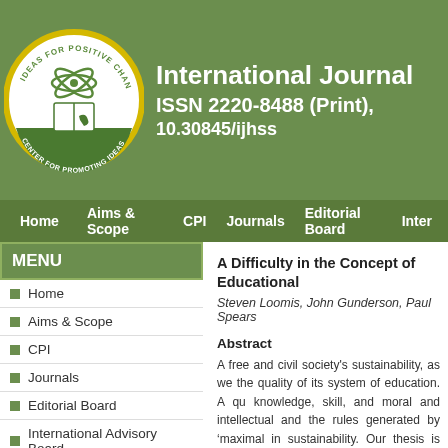[Figure (logo): Circular logo with text 'IDEAS FOR POSITIVE CHANGE' and 'CENTER FOR PROMOTING IDEAS', featuring an atom, book, and hand illustration in green and white]
International Journal
ISSN 2220-8488 (Print),
10.30845/ijhss
Home   Aims & Scope   CPI   Journals   Editorial Board   Inter
MENU
Home
Aims & Scope
CPI
Journals
Editorial Board
International Advisory Board
Submission
Current
Archive
Index
A Difficulty in the Concept of Educational
Steven Loomis, John Gunderson, Paul Spears
Abstract
A free and civil society's sustainability, as we the quality of its system of education. A qu knowledge, skill, and moral and intellectual and the rules generated by 'maximal in sustainability. Our thesis is that, within a t information, that is, the kind of information b culture, is divided from and comes to be di